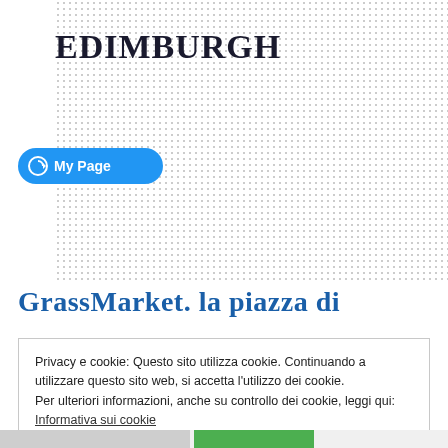EDIMBURGH
[Figure (screenshot): Blue 'My Page' button with circle-arrow icon]
GrassMarket. la piazza di
Privacy e cookie: Questo sito utilizza cookie. Continuando a utilizzare questo sito web, si accetta l'utilizzo dei cookie.
Per ulteriori informazioni, anche su controllo dei cookie, leggi qui:
Informativa sui cookie
Accetta e chiudi